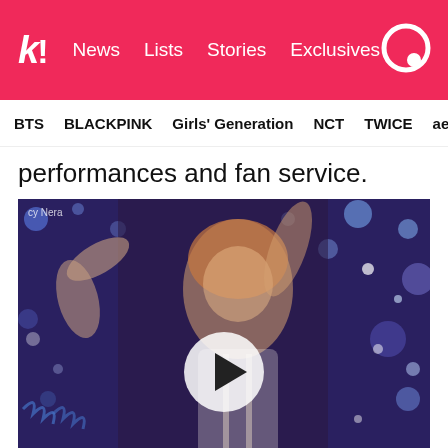k! News  Lists  Stories  Exclusives
BTS  BLACKPINK  Girls' Generation  NCT  TWICE  aespa
performances and fan service.
[Figure (photo): K-pop performer dancing on stage with blue sparkling background, with a video play button overlay. Watermark: cy Nera]